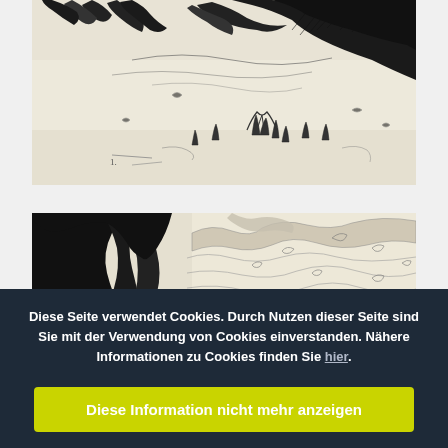[Figure (illustration): Black and white ink sketch/drawing showing windswept trees with expressive hatching strokes, grass and ground elements in the lower portion. The style is loose and energetic.]
[Figure (illustration): Black and white ink sketch/drawing showing gnarled tree trunks and roots with bold curving forms and landscape elements in the background, rendered with heavy black areas and organic contour lines.]
Diese Seite verwendet Cookies. Durch Nutzen dieser Seite sind Sie mit der Verwendung von Cookies einverstanden. Nähere Informationen zu Cookies finden Sie hier.
Diese Information nicht mehr anzeigen